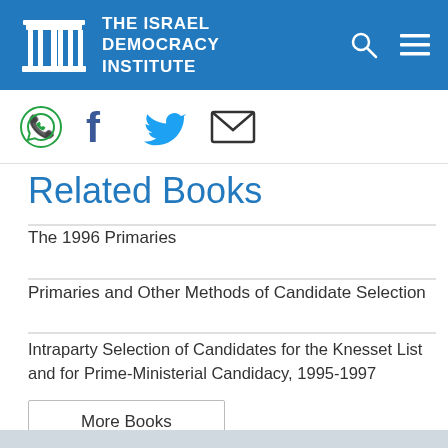THE ISRAEL DEMOCRACY INSTITUTE
[Figure (logo): Israel Democracy Institute logo with menorah columns icon and site navigation icons (search, menu)]
[Figure (infographic): Social sharing icons bar: WhatsApp, Facebook, Twitter, Email]
Related Books
The 1996 Primaries
Primaries and Other Methods of Candidate Selection
Intraparty Selection of Candidates for the Knesset List and for Prime-Ministerial Candidacy, 1995-1997
More Books